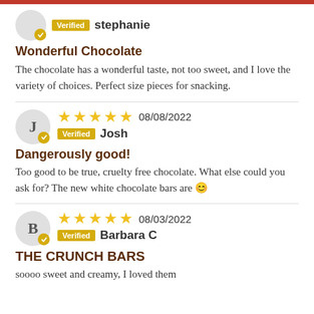Verified  stephanie
Wonderful Chocolate
The chocolate has a wonderful taste, not too sweet, and I love the variety of choices. Perfect size pieces for snacking.
★★★★★  08/08/2022  Verified  Josh
Dangerously good!
Too good to be true, cruelty free chocolate. What else could you ask for? The new white chocolate bars are 😊
★★★★★  08/03/2022  Verified  Barbara C
THE CRUNCH BARS
soooo sweet and creamy, I loved them